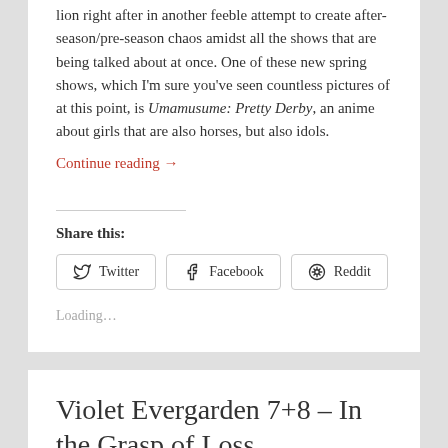lion right after in another feeble attempt to create after-season/pre-season chaos amidst all the shows that are being talked about at once. One of these new spring shows, which I'm sure you've seen countless pictures of at this point, is Umamusume: Pretty Derby, an anime about girls that are also horses, but also idols.
Continue reading →
Share this:
Twitter
Facebook
Reddit
Loading...
Violet Evergarden 7+8 – In the Grasp of Loss